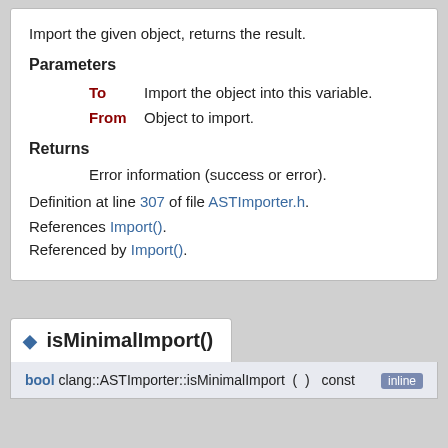Import the given object, returns the result.
Parameters
To   Import the object into this variable.
From   Object to import.
Returns
Error information (success or error).
Definition at line 307 of file ASTImporter.h.
References Import().
Referenced by Import().
isMinimalImport()
bool clang::ASTImporter::isMinimalImport ( ) const   inline